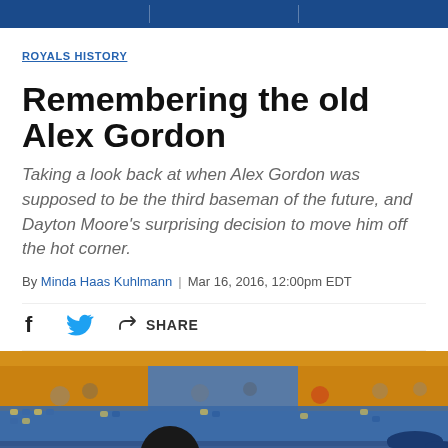ROYALS HISTORY
Remembering the old Alex Gordon
Taking a look back at when Alex Gordon was supposed to be the third baseman of the future, and Dayton Moore's surprising decision to move him off the hot corner.
By Minda Haas Kuhlmann | Mar 16, 2016, 12:00pm EDT
[Figure (photo): Baseball stadium crowd in the stands, with two people visible in the foreground from behind/side, blurred crowd and yellow/blue seats in background]